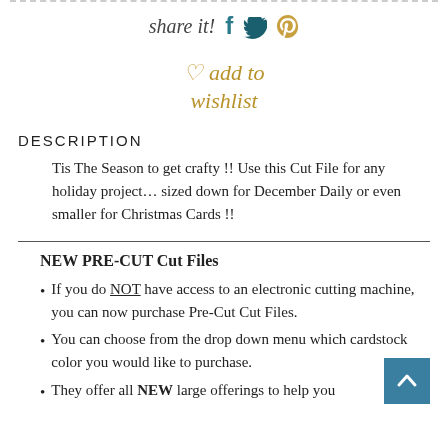share it!
add to wishlist
DESCRIPTION
Tis The Season to get crafty !! Use this Cut File for any holiday project... sized down for December Daily or even smaller for Christmas Cards !!
NEW PRE-CUT Cut Files
If you do NOT have access to an electronic cutting machine, you can now purchase Pre-Cut Cut Files.
You can choose from the drop down menu which cardstock color you would like to purchase.
They offer all NEW large offerings to help you...